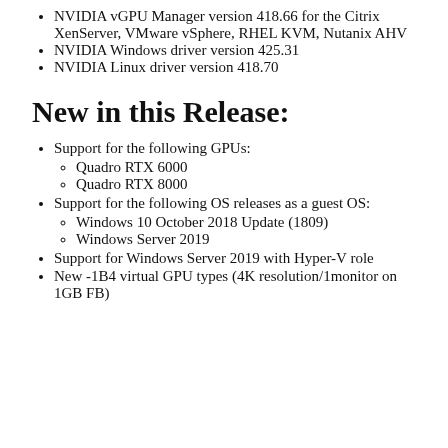NVIDIA vGPU Manager version 418.66 for the Citrix XenServer, VMware vSphere, RHEL KVM, Nutanix AHV
NVIDIA Windows driver version 425.31
NVIDIA Linux driver version 418.70
New in this Release:
Support for the following GPUs:
Quadro RTX 6000
Quadro RTX 8000
Support for the following OS releases as a guest OS:
Windows 10 October 2018 Update (1809)
Windows Server 2019
Support for Windows Server 2019 with Hyper-V role
New -1B4 virtual GPU types (4K resolution/1monitor on 1GB FB)